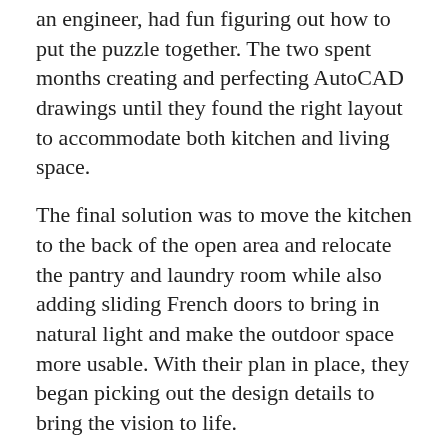an engineer, had fun figuring out how to put the puzzle together. The two spent months creating and perfecting AutoCAD drawings until they found the right layout to accommodate both kitchen and living space.
The final solution was to move the kitchen to the back of the open area and relocate the pantry and laundry room while also adding sliding French doors to bring in natural light and make the outdoor space more usable. With their plan in place, they began picking out the design details to bring the vision to life.
Stephanie says her mom’s biggest requirement was to keep the kitchen bright and happy, so she incorporated natural wood, lots of white and cream tones plus brass hardware. “We were drawn toward a coastal/farmhouse look,” Stephanie says. The designer created a 3D drawing of her design as well as an inspiration board to help her parents visualize the final outcome. Sue says she trusted her daughter’s decisions 100 percent. “It